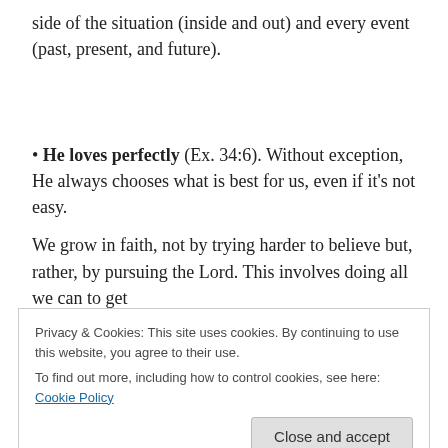side of the situation (inside and out) and every event (past, present, and future).
• He loves perfectly (Ex. 34:6). Without exception, He always chooses what is best for us, even if it's not easy.
We grow in faith, not by trying harder to believe but, rather, by pursuing the Lord. This involves doing all we can to get
Privacy & Cookies: This site uses cookies. By continuing to use this website, you agree to their use.
To find out more, including how to control cookies, see here: Cookie Policy
Share this: